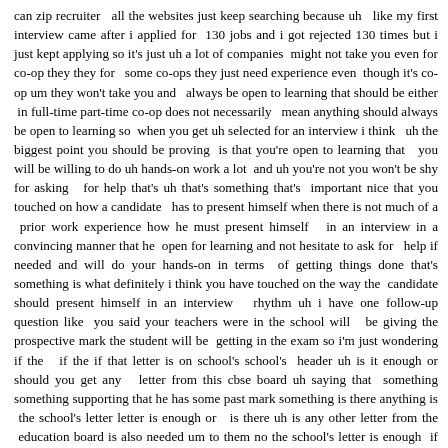can zip recruiter   all the websites just keep searching because uh   like my first interview came after i applied for  130 jobs and i got rejected 130 times but i just kept applying so it's just uh a lot of companies  might not take you even for co-op they they for   some co-ops they just need experience even  though it's co-op um they won't take you and   always be open to learning that should be either  in full-time part-time co-op does not necessarily   mean anything should always be open to learning so  when you get uh selected for an interview i think   uh the biggest point you should be proving  is that you're open to learning that   you will be willing to do uh hands-on work a lot  and uh you're not you won't be shy for asking   for help that's uh that's something that's  important nice that you touched on how a candidate   has to present himself when there is not much of a  prior work experience how he must present himself   in an interview in a convincing manner that he  open for learning and not hesitate to ask for   help if needed and will do your hands-on in terms  of getting things done that's something is what definitely i think you have touched on the way the  candidate should present himself in an interview   rhythm uh i have one follow-up question like  you said your teachers were in the school will   be giving the prospective mark the student will be  getting in the exam so i'm just wondering if the   if the if that letter is on school's school's  header uh is it enough or should you get any   letter from this cbse board uh saying that  something something supporting that he has some past mark something is there anything is  the school's letter letter is enough or  is there uh is any other letter from the  education board is also needed um to them no the school's letter is enough  if it's a cbse recognized school um   the marks will uh however be only validated after  the final marks of your 12th right so that that  result comes from cbse themselves so you will have  to upload those marks anyway so till that point   um the offer letter will be conditional so even  though you pay a fee even though you have a seat   everything can be reversed if your marks are not  you know if they're not in a range so to speak  right and um since